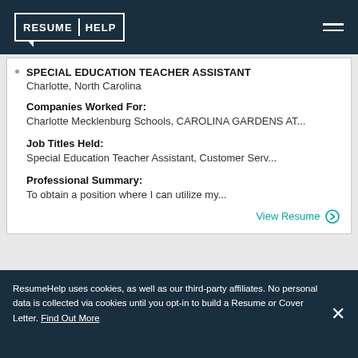RESUME HELP
SPECIAL EDUCATION TEACHER ASSISTANT
Charlotte, North Carolina
Companies Worked For:
Charlotte Mecklenburg Schools, CAROLINA GARDENS AT...
Job Titles Held:
Special Education Teacher Assistant, Customer Serv...
Professional Summary:
To obtain a position where I can utilize my...
View Resume ⊙
SPECIAL EDUCATION TEACHER ASSISTANT
Gilbert, Arizona
Companies Worked For:
ResumeHelp uses cookies, as well as our third-party affiliates. No personal data is collected via cookies until you opt-in to build a Resume or Cover Letter. Find Out More